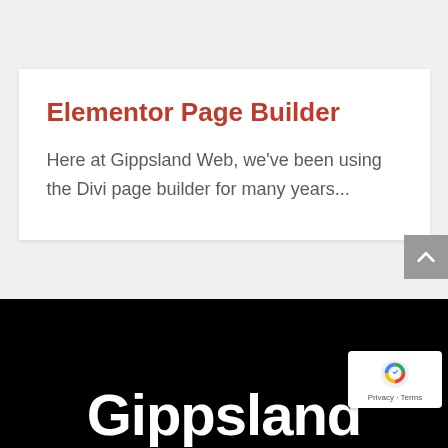Elementor Page Builder
Here at Gippsland Web, we've been using the Divi page builder for many years...
Gippsland